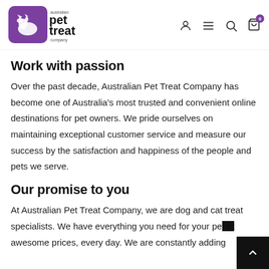[Figure (logo): Australian Pet Treat Company logo — purple rounded square with dog/cat silhouette and stylized text 'pet treat company']
Navigation icons: user account, hamburger menu, search, cart (0)
Work with passion
Over the past decade, Australian Pet Treat Company has become one of Australia's most trusted and convenient online destinations for pet owners. We pride ourselves on maintaining exceptional customer service and measure our success by the satisfaction and happiness of the people and pets we serve.
Our promise to you
At Australian Pet Treat Company, we are dog and cat treat specialists. We have everything you need for your pet awesome prices, every day. We are constantly adding